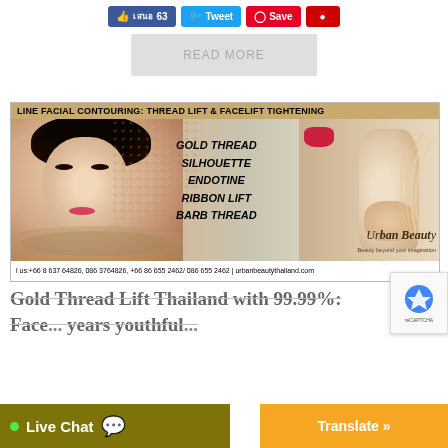[Figure (screenshot): Social media sharing buttons: Like (63), Tweet, Save, and a red share button]
READ MORE
[Figure (advertisement): Urban Beauty Thailand advertisement for facial contouring treatments: Thread Lift & Facelift Tightening. Shows a woman's face and a neck/jawline with lift lines. Lists: GOLD THREAD, SILHOUETTE, ENDOTINE, RIBBON LIFT, BARB THREAD. Contact: +66 8 637 64826, 086 3764826, +66 86 655 2462/ 086 655 2462 | urbanbeautythailand.com]
Gold Thread Lift Thailand with 99.99%: Face... years youthful...
[Figure (screenshot): Live Chat bar with green dot and chat icon, and Translate button]
[Figure (logo): reCAPTCHA badge]